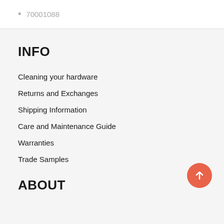70001088
INFO
Cleaning your hardware
Returns and Exchanges
Shipping Information
Care and Maintenance Guide
Warranties
Trade Samples
ABOUT